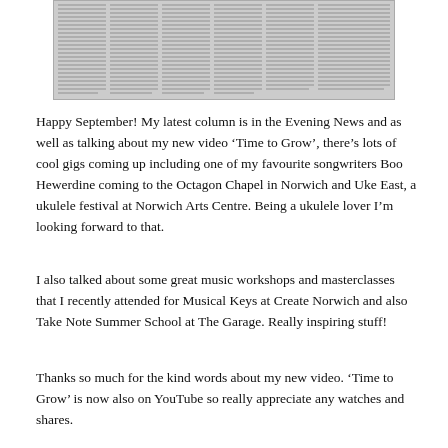[Figure (photo): Scanned newspaper clipping showing multiple columns of text from the Evening News]
Happy September! My latest column is in the Evening News and as well as talking about my new video ‘Time to Grow’, there’s lots of cool gigs coming up including one of my favourite songwriters Boo Hewerdine coming to the Octagon Chapel in Norwich and Uke East, a ukulele festival at Norwich Arts Centre. Being a ukulele lover I’m looking forward to that.
I also talked about some great music workshops and masterclasses that I recently attended for Musical Keys at Create Norwich and also Take Note Summer School at The Garage. Really inspiring stuff!
Thanks so much for the kind words about my new video. ‘Time to Grow’ is now also on YouTube so really appreciate any watches and shares.